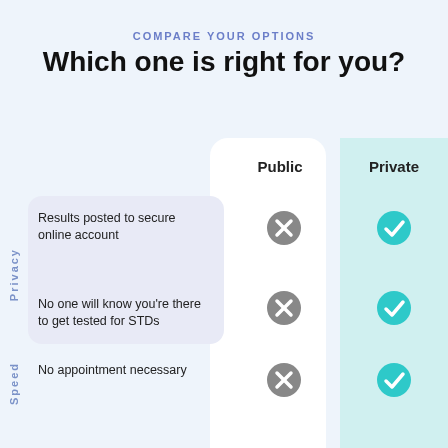COMPARE YOUR OPTIONS
Which one is right for you?
|  | Public | Private |
| --- | --- | --- |
| Results posted to secure online account | ✗ | ✓ |
| No one will know you're there to get tested for STDs | ✗ | ✓ |
| No appointment necessary | ✗ | ✓ |
| Results within 1–2 days | ✗ | ✓ |